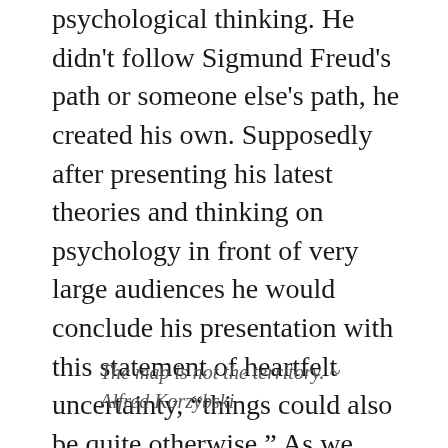psychological thinking. He didn't follow Sigmund Freud's path or someone else's path, he created his own. Supposedly after presenting his latest theories and thinking on psychology in front of very large audiences he would conclude his presentation with this statement of heartfelt uncertainty, “things could also be quite otherwise.” As we journey forward in engagement towards 2020, let’s never forget that, things could also be quite otherwise.
The map is not the territory. ~ Alfred Korzybski